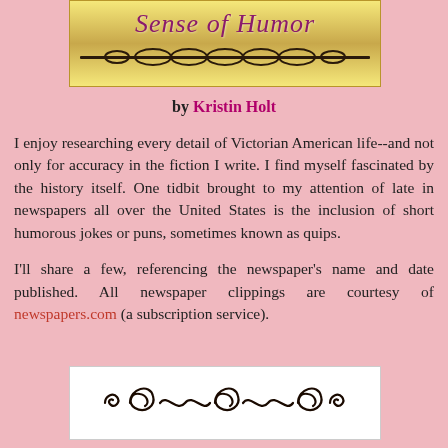[Figure (illustration): Decorative banner with gold gradient background showing cursive text 'Sense of Humor' in magenta/purple, with ornamental scroll design below]
by Kristin Holt
I enjoy researching every detail of Victorian American life--and not only for accuracy in the fiction I write. I find myself fascinated by the history itself. One tidbit brought to my attention of late in newspapers all over the United States is the inclusion of short humorous jokes or puns, sometimes known as quips.
I'll share a few, referencing the newspaper's name and date published. All newspaper clippings are courtesy of newspapers.com (a subscription service).
[Figure (illustration): Decorative ornamental divider with scrollwork and spiral flourishes on white background]